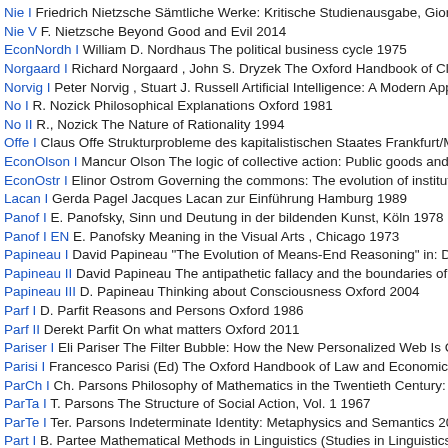Nie I Friedrich Nietzsche Sämtliche Werke: Kritische Studienausgabe, Giorgio Co
Nie V F. Nietzsche Beyond Good and Evil 2014
EconNordh I William D. Nordhaus The political business cycle 1975
Norgaard I Richard Norgaard , John S. Dryzek The Oxford Handbook of Climate
Norvig I Peter Norvig , Stuart J. Russell Artificial Intelligence: A Modern Approach
No I R. Nozick Philosophical Explanations Oxford 1981
No II R., Nozick The Nature of Rationality 1994
Offe I Claus Offe Strukturprobleme des kapitalistischen Staates Frankfurt/M. 197
EconOlson I Mancur Olson The logic of collective action: Public goods and the th
EconOstr I Elinor Ostrom Governing the commons: The evolution of institutions fo
Lacan I Gerda Pagel Jacques Lacan zur Einführung Hamburg 1989
Panof I E. Panofsky, Sinn und Deutung in der bildenden Kunst, Köln 1978
Panof I EN E. Panofsky Meaning in the Visual Arts , Chicago 1973
Papineau I David Papineau "The Evolution of Means-End Reasoning" in: D. Papi
Papineau II David Papineau The antipathetic fallacy and the boundaries of consc
Papineau III D. Papineau Thinking about Consciousness Oxford 2004
Parf I D. Parfit Reasons and Persons Oxford 1986
Parf II Derekt Parfit On what matters Oxford 2011
Pariser I Eli Pariser The Filter Bubble: How the New Personalized Web Is Chang
Parisi I Francesco Parisi (Ed) The Oxford Handbook of Law and Economics: Volu
ParCh I Ch. Parsons Philosophy of Mathematics in the Twentieth Century: Select
ParTa I T. Parsons The Structure of Social Action, Vol. 1 1967
ParTe I Ter. Parsons Indeterminate Identity: Metaphysics and Semantics 2000
Part I B. Partee Mathematical Methods in Linguistics (Studies in Linguistics and P
PolPate I Carole Pateman Political Culture, Political Structure and Political Chang
Pauen I M. Pauen Grundprobleme der Philosophie des Geistes Frankfurt 2001
Peacocke I Chr. R. Peacocke Sense and Content Oxford 1983
Peacocke II Christopher Peacocke "Truth Definitions and Actual Languges" aus "
Peano I Giuseppe Peano Selected works of Giuseppe Peano, Hubert C Kennedy
Peir I Ch. S. Peirce Philosophical Writings 2011
Penr I R. Penrose The Road to Reality: A Complete Guide to the Laws of the Uni
Perd I Jean Perdijon, Das Mass in Wissenschaft und Philosophie, Bergisch Glad